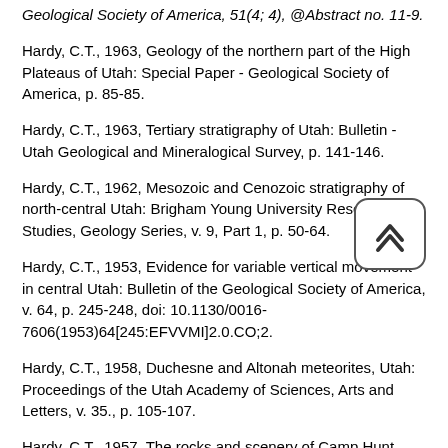Geological Society of America, 51(4; 4), @Abstract no. 11-9.
Hardy, C.T., 1963, Geology of the northern part of the High Plateaus of Utah: Special Paper - Geological Society of America, p. 85-85.
Hardy, C.T., 1963, Tertiary stratigraphy of Utah: Bulletin - Utah Geological and Mineralogical Survey, p. 141-146.
Hardy, C.T., 1962, Mesozoic and Cenozoic stratigraphy of north-central Utah: Brigham Young University Research Studies, Geology Series, v. 9, Part 1, p. 50-64.
Hardy, C.T., 1953, Evidence for variable vertical movement in central Utah: Bulletin of the Geological Society of America, v. 64, p. 245-248, doi: 10.1130/0016-7606(1953)64[245:EFVVMI]2.0.CO;2.
Hardy, C.T., 1958, Duchesne and Altonah meteorites, Utah: Proceedings of the Utah Academy of Sciences, Arts and Letters, v. 35., p. 105-107.
Hardy, C.T., 1957, The rocks and scenery of Camp Hunt, Rich